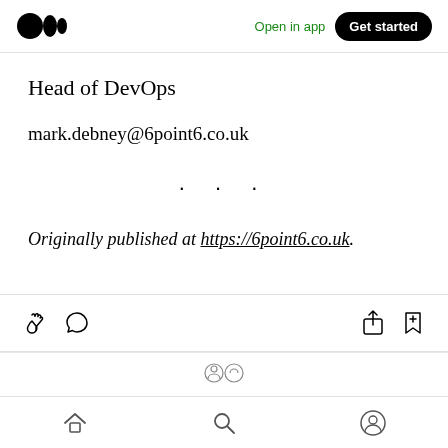Medium app header with logo, Open in app, Get started
Head of DevOps
mark.debney@6point6.co.uk
· · ·
Originally published at https://6point6.co.uk.
[Figure (screenshot): App action bar with clap, comment, share, and bookmark icons]
[Figure (screenshot): Partially visible profile/reaction bar]
Bottom navigation bar with home, search, profile icons